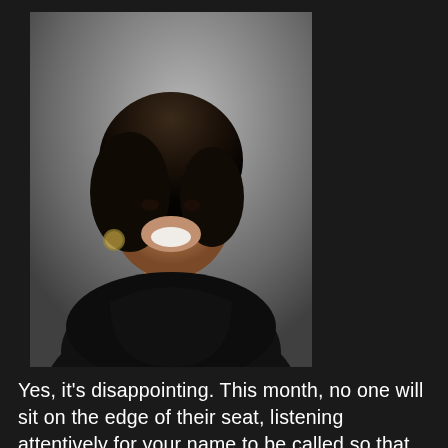[Figure (photo): Portrait photo of a smiling African American woman with dark hair, wearing a black top, against a grey studio background.]
Yes, it's disappointing. This month, no one will sit on the edge of their seat, listening attentively for your name to be called so that they can jump to their feet, with loud cheers and shouts. No one will use